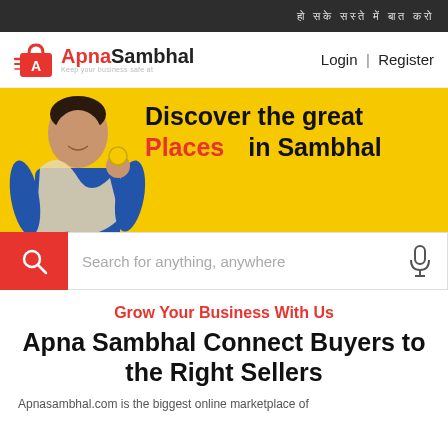हो सके सस्ते में बात करो
[Figure (logo): Apna Sambhal logo with red shopping bag icon]
Login | Register
[Figure (infographic): Yellow hero banner with man holding coin, text: Discover the great Places in Sambhal, search bar below]
Grow Your Business With Us
Apna Sambhal Connect Buyers to the Right Sellers
Apnasambhal.com is the biggest online marketplace of...